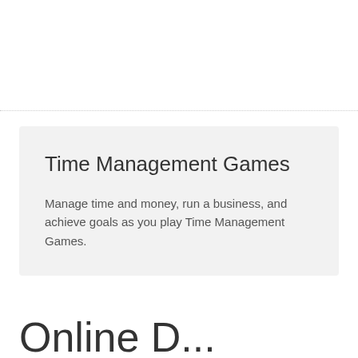Time Management Games
Manage time and money, run a business, and achieve goals as you play Time Management Games.
Online P...